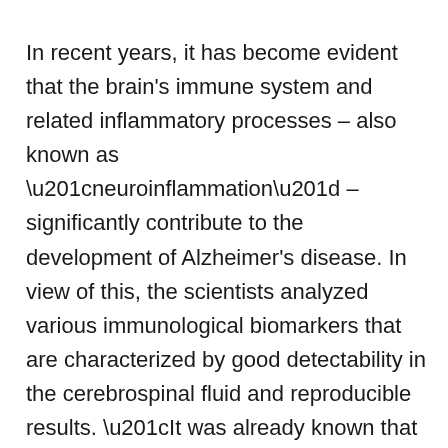In recent years, it has become evident that the brain's immune system and related inflammatory processes – also known as “neuroinflammation” – significantly contribute to the development of Alzheimer's disease. In view of this, the scientists analyzed various immunological biomarkers that are characterized by good detectability in the cerebrospinal fluid and reproducible results. “It was already known that these markers indicate immune processes in the context of Alzheimer's disease. However, how these markers relate to brain volume, cognitive performance and other parameters had not been studied as comprehensively as we have now,” explains Prof. Michael Heneka, who led the current study during his long-time tenure at